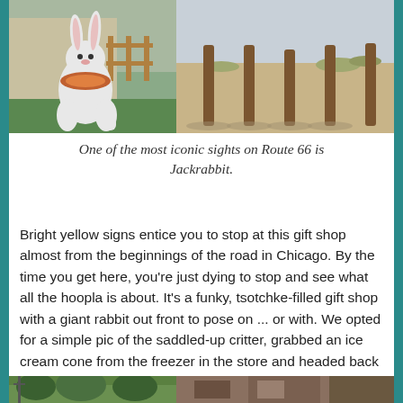[Figure (photo): Two photos side by side: left shows a giant white jackrabbit statue with a saddle in front of a building with fence; right shows wooden posts in a desert landscape.]
One of the most iconic sights on Route 66 is Jackrabbit.
Bright yellow signs entice you to stop at this gift shop almost from the beginnings of the road in Chicago. By the time you get here, you're just dying to stop and see what all the hoopla is about. It's a funky, tsotchke-filled gift shop with a giant rabbit out front to pose on ... or with. We opted for a simple pic of the saddled-up critter, grabbed an ice cream cone from the freezer in the store and headed back out on the highway.
[Figure (photo): Partial bottom strip showing two photos: left with green trees, right with a building facade.]